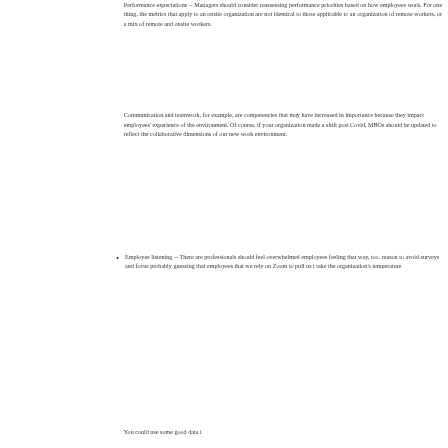Performance expectations -- Managers should consider reassessing performance priorities based on how employees work. For one thing, the metrics that apply to an onsite organization are not identical to those applicable to an organization of remote workers, or a mix of remote and onsite workers.
Communication and teamwork, for example, are competencies that may have increased in importance because they impact employees' experience of the environment. Of course, if your organization made a shift post Covid, MBOs should be updated to reflect the collaborative dimensions of our new work environment.
Employee listening -- There are professionals should feel overwhelmed employees feeling that way, too. reason to avoid surveys and focus probably guessing that employees that we rely on Zoom to pull us together take the organization's temperature
You could use some good data i